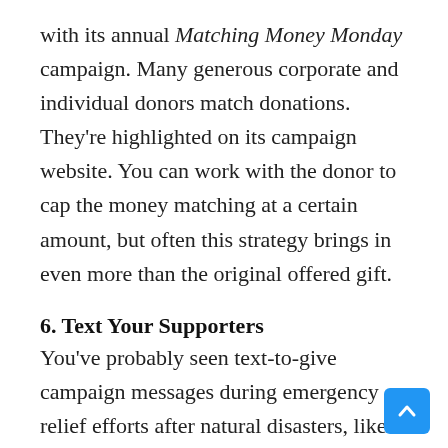with its annual Matching Money Monday campaign. Many generous corporate and individual donors match donations. They're highlighted on its campaign website. You can work with the donor to cap the money matching at a certain amount, but often this strategy brings in even more than the original offered gift.
6. Text Your Supporters
You've probably seen text-to-give campaign messages during emergency relief efforts after natural disasters, like recent California wildfires. These campaigns allow donors to contribute to your cause by simply sending a text message with their cell